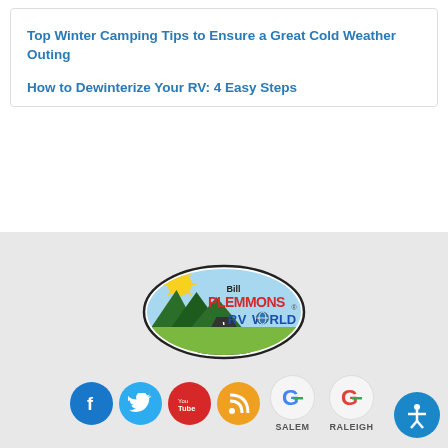Top Winter Camping Tips to Ensure a Great Cold Weather Outing
How to Dewinterize Your RV: 4 Easy Steps
[Figure (logo): Bill Plemmons RV World oval logo with mountain road and sun scene]
[Figure (infographic): Row of social media icons: Facebook (blue circle), Twitter (blue circle), YouTube (red circle), RSS (orange circle), Google Salem (circle with G logo), Google Raleigh (circle with G logo), and an accessibility icon button]